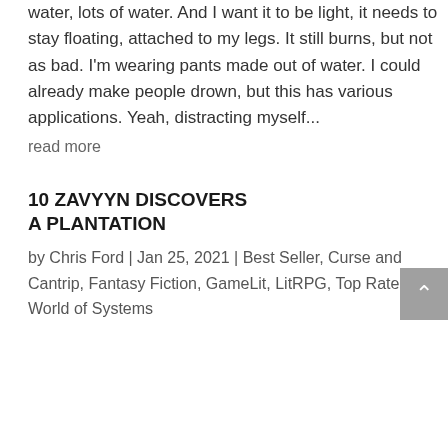water, lots of water. And I want it to be light, it needs to stay floating, attached to my legs. It still burns, but not as bad. I'm wearing pants made out of water. I could already make people drown, but this has various applications. Yeah, distracting myself...
read more
10 ZAVYYN DISCOVERS A PLANTATION
by Chris Ford | Jan 25, 2021 | Best Seller, Curse and Cantrip, Fantasy Fiction, GameLit, LitRPG, Top Rated, World of Systems